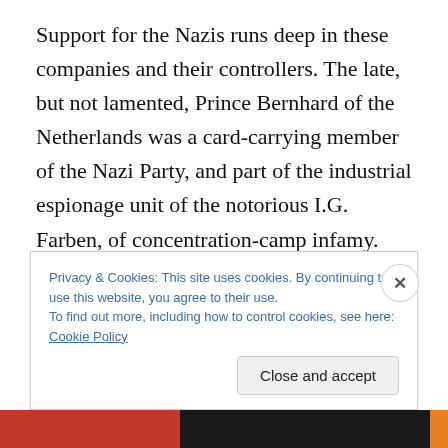Support for the Nazis runs deep in these companies and their controllers. The late, but not lamented, Prince Bernhard of the Netherlands was a card-carrying member of the Nazi Party, and part of the industrial espionage unit of the notorious I.G. Farben, of concentration-camp infamy. Prince Bernhard was a founder of the Bilberberg Group, and with Britain's Prince Philip, of the World Wildlife Fund, two organizations dedicated to pushing imperial fascism. Philip is the creature who has dedicated his life to reducing the world's population by two-thirds (including you), and has expressed his desire to be
Privacy & Cookies: This site uses cookies. By continuing to use this website, you agree to their use.
To find out more, including how to control cookies, see here: Cookie Policy
Close and accept